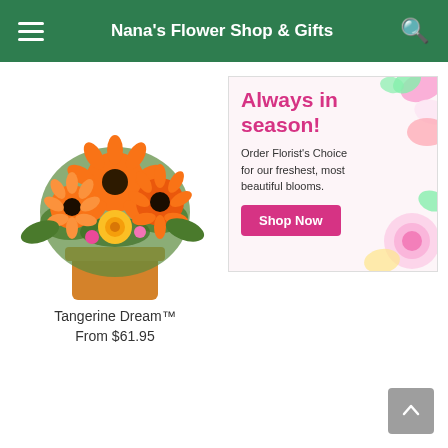Nana's Flower Shop & Gifts
[Figure (photo): Orange and yellow floral arrangement in orange pot — Tangerine Dream bouquet with gerbera daisies and roses]
Tangerine Dream™
From $61.95
[Figure (infographic): Advertisement banner: 'Always in season! Order Florist's Choice for our freshest, most beautiful blooms.' with a pink Shop Now button and pink flower decorations]
Always in season!
Order Florist's Choice for our freshest, most beautiful blooms.
Shop Now